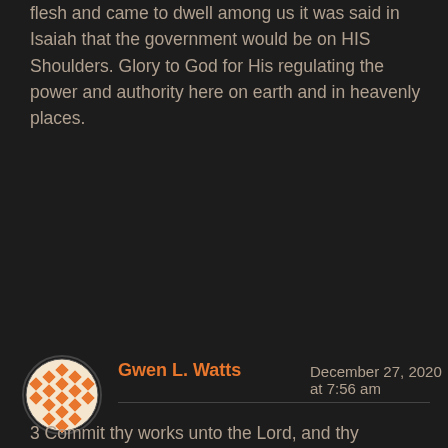flesh and came to dwell among us it was said in Isaiah that the government would be on HIS Shoulders. Glory to God for His regulating the power and authority here on earth and in heavenly places.
Reply
[Figure (illustration): Orange and white geometric diamond pattern avatar in a dark circular border]
Gwen L. Watts
December 27, 2020 at 7:56 am
3 Commit thy works unto the Lord, and thy thoughts shall be established.

The reason some people are undisciplined in their relationship with the Lord, and with others, is because they have not committed their works unto the Lord. He directs our thoughts, our actions and our steps through His Spirit and His Word. If we are not getting our direction from Him on a daily basis, we are floundering in our day. Doing this and that,